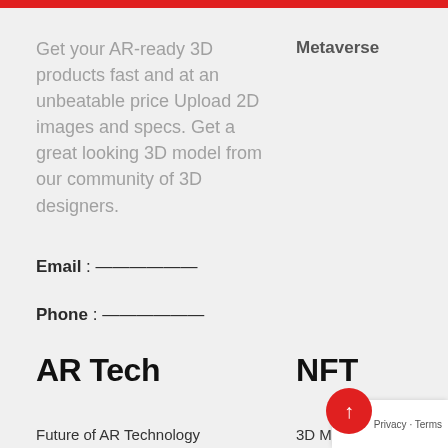Get your AR-ready 3D products fast and at an unbeatable price Upload 2D images and specs. Get a great looking 3D model from our community of 3D designers.
Metaverse
Email : ——————
Phone : ——————
AR Tech
NFT
Future of AR Technology
3D Modelling